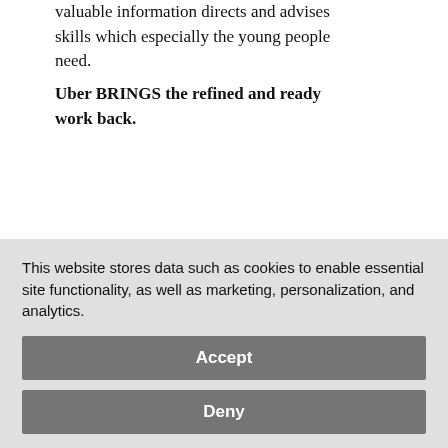valuable information directs and advises skills which especially the young people need.
Uber BRINGS the refined and ready work back.
2. The business ideas of my work are / the life values are:
[Figure (photo): Photo of a bicycle seat and handlebars in a cluttered space, with a Cinema poster for Phantom of the Opera visible on the right side.]
This website stores data such as cookies to enable essential site functionality, as well as marketing, personalization, and analytics.